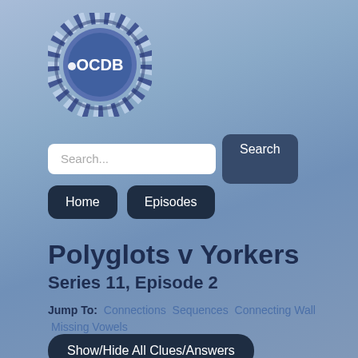[Figure (logo): OCDB circular logo with dark blue and white segments around a blue circle with 'OCDB' text in center]
Search...
Search
Home
Episodes
Polyglots v Yorkers
Series 11, Episode 2
Jump To: Connections Sequences Connecting Wall Missing Vowels
Show/Hide All Clues/Answers